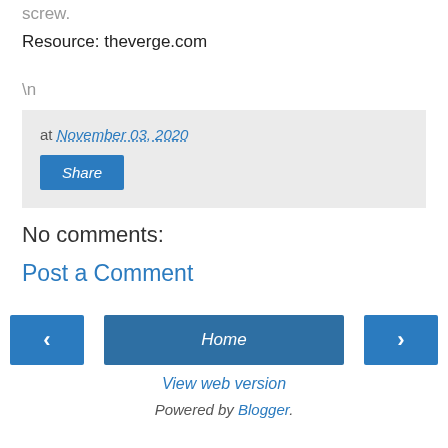screw.
Resource: theverge.com
\n
at November 03, 2020  Share
No comments:
Post a Comment
< Home > View web version Powered by Blogger.